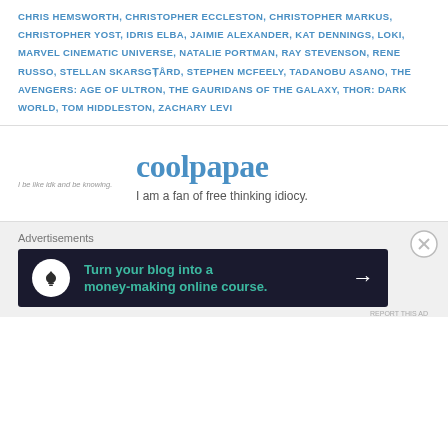CHRIS HEMSWORTH, CHRISTOPHER ECCLESTON, CHRISTOPHER MARKUS, CHRISTOPHER YOST, IDRIS ELBA, JAIMIE ALEXANDER, KAT DENNINGS, LOKI, MARVEL CINEMATIC UNIVERSE, NATALIE PORTMAN, RAY STEVENSON, RENE RUSSO, STELLAN SKARSGÅRD, STEPHEN MCFEELY, TADANOBU ASANO, THE AVENGERS: AGE OF ULTRON, THE GAURIDANS OF THE GALAXY, THOR: DARK WORLD, TOM HIDDLESTON, ZACHARY LEVI
coolpapae
I be like idk and be knowing.
I am a fan of free thinking idiocy.
Advertisements
[Figure (infographic): Dark advertisement banner: 'Turn your blog into a money-making online course.' with arrow icon on dark navy background and green text.]